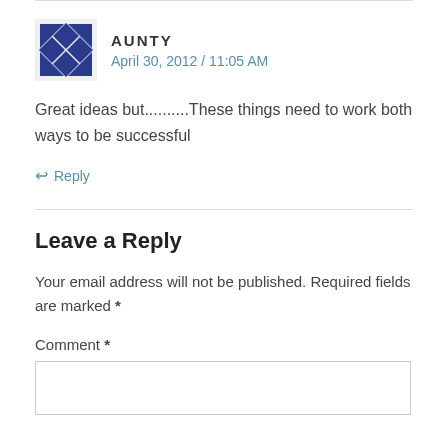[Figure (logo): Geometric avatar icon with blue diamond/arrow pattern]
AUNTY
April 30, 2012 / 11:05 AM
Great ideas but..........These things need to work both ways to be successful
↩ Reply
Leave a Reply
Your email address will not be published. Required fields are marked *
Comment *